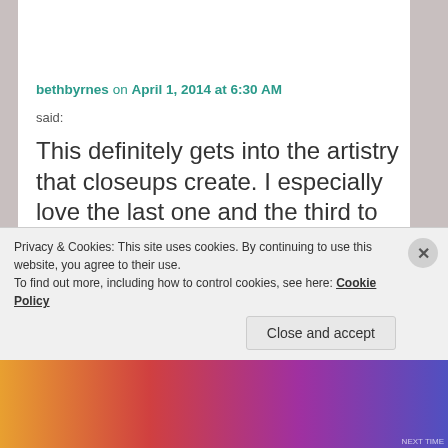[Figure (photo): Small avatar photo of a person (bethbyrnes), showing a woman with dark hair against a light background.]
bethbyrnes on April 1, 2014 at 6:30 AM
said:
This definitely gets into the artistry that closeups create. I especially love the last one and the third to last. I do have a Canon zoom that I got refurbished from Adorama in NY, but I have done nothing with it.
Privacy & Cookies: This site uses cookies. By continuing to use this website, you agree to their use. To find out more, including how to control cookies, see here: Cookie Policy
Close and accept